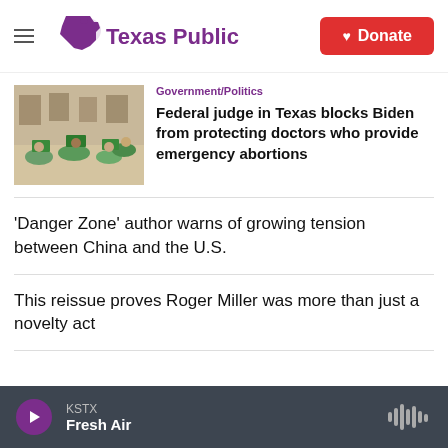[Figure (logo): Texas Public Radio logo with purple Texas state silhouette and speech bubble icon, purple text 'Texas Public Radio', hamburger menu icon on left, red Donate button with heart icon on right]
Government/Politics
[Figure (photo): Photo of people sitting on floor holding green signs at what appears to be a political rally or protest]
Federal judge in Texas blocks Biden from protecting doctors who provide emergency abortions
'Danger Zone' author warns of growing tension between China and the U.S.
This reissue proves Roger Miller was more than just a novelty act
KSTX Fresh Air